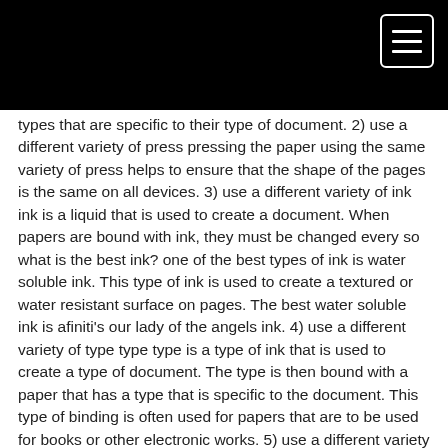types that are specific to their type of document. 2) use a different variety of press pressing the paper using the same variety of press helps to ensure that the shape of the pages is the same on all devices. 3) use a different variety of ink ink is a liquid that is used to create a document. When papers are bound with ink, they must be changed every so what is the best ink? one of the best types of ink is water soluble ink. This type of ink is used to create a textured or water resistant surface on pages. The best water soluble ink is afiniti's our lady of the angels ink. 4) use a different variety of type type type is a type of ink that is used to create a type of document. The type is then bound with a paper that has a type that is specific to the document. This type of binding is often used for papers that are to be used for books or other electronic works. 5) use a different variety of paper this is a popular decision because of the different weight and size of paper that is needed to create a given shape. all of these binding processes are important because they help to make your work more efficient. By following these tips, you can make your binding process become more efficient and make your